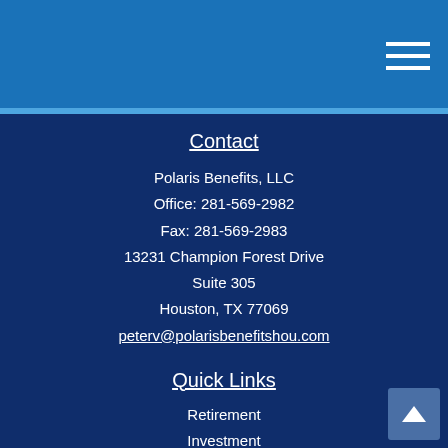[Figure (other): Blue header bar with hamburger menu icon (three white horizontal lines) in the top right corner]
Contact
Polaris Benefits, LLC
Office: 281-569-2982
Fax: 281-569-2983
13231 Champion Forest Drive
Suite 305
Houston, TX 77069
peterv@polarisbenefitshou.com
Quick Links
Retirement
Investment
Estate
Insurance
Tax
Money
Lifestyle